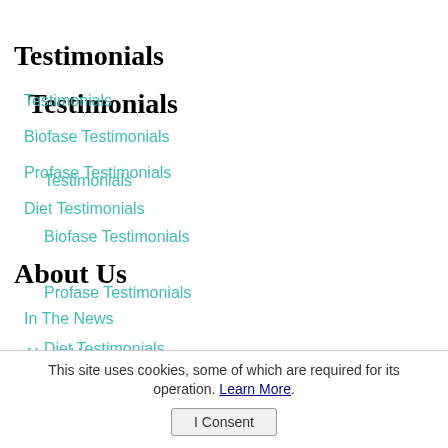Testimonials
Testimonials
Biofase Testimonials
Profase Testimonials
Diet Testimonials
About Us
In The News
About Us
Contact Us
This site uses cookies, some of which are required for its operation. Learn More. I Consent